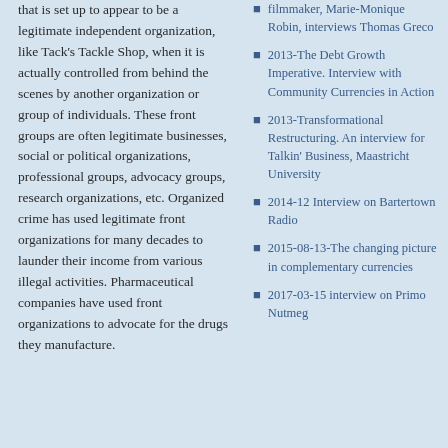that is set up to appear to be a legitimate independent organization, like Tack's Tackle Shop, when it is actually controlled from behind the scenes by another organization or group of individuals. These front groups are often legitimate businesses, social or political organizations, professional groups, advocacy groups, research organizations, etc. Organized crime has used legitimate front organizations for many decades to launder their income from various illegal activities. Pharmaceutical companies have used front organizations to advocate for the drugs they manufacture.
filmmaker, Marie-Monique Robin, interviews Thomas Greco
2013-The Debt Growth Imperative. Interview with Community Currencies in Action
2013-Transformational Restructuring. An interview for Talkin' Business, Maastricht University
2014-12 Interview on Bartertown Radio
2015-08-13-The changing picture in complementary currencies
2017-03-15 interview on Primo Nutmeg